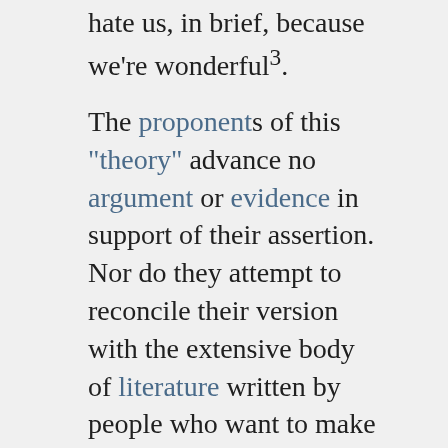hate us, in brief, because we're wonderful³. The proponents of this "theory" advance no argument or evidence in support of their assertion. Nor do they attempt to reconcile their version with the extensive body of literature written by people who want to make it unmistakably clear just "why they hate us." Nor do they explain why they are so confident that US foreign policy — not exactly the most lovable on Earth — has not caused people to hate the US. Indeed, the idea that people would hate a country because it drops cluster bombs, napalm, Agent Orange, and depleted uranium in